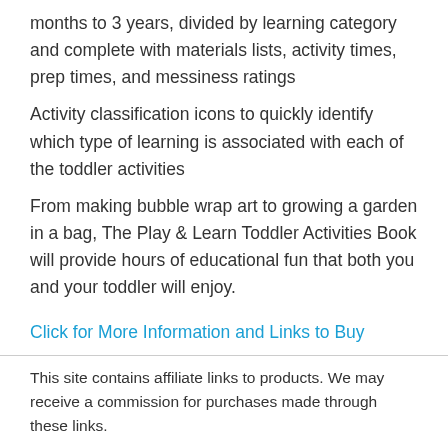months to 3 years, divided by learning category and complete with materials lists, activity times, prep times, and messiness ratings
Activity classification icons to quickly identify which type of learning is associated with each of the toddler activities
From making bubble wrap art to growing a garden in a bag, The Play & Learn Toddler Activities Book will provide hours of educational fun that both you and your toddler will enjoy.
Click for More Information and Links to Buy
This site contains affiliate links to products. We may receive a commission for purchases made through these links.